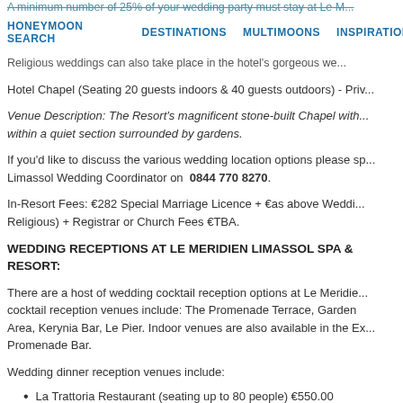A minimum number of 25% of your wedding party must stay at Le M... to be held there.
HONEYMOON SEARCH   DESTINATIONS   MULTIMOONS   INSPIRATION
Religious weddings can also take place in the hotel's gorgeous we...
Hotel Chapel (Seating 20 guests indoors & 40 guests outdoors) - Priv...
Venue Description: The Resort's magnificent stone-built Chapel with... within a quiet section surrounded by gardens.
If you'd like to discuss the various wedding location options please sp... Limassol Wedding Coordinator on  0844 770 8270.
In-Resort Fees: €282 Special Marriage Licence + €as above Weddi... Religious) + Registrar or Church Fees €TBA.
WEDDING RECEPTIONS AT LE MERIDIEN LIMASSOL SPA & RESORT:
There are a host of wedding cocktail reception options at Le Meridie... cocktail reception venues include: The Promenade Terrace, Garden Area, Kerynia Bar, Le Pier. Indoor venues are also available in the Ex... Promenade Bar.
Wedding dinner reception venues include:
La Trattoria Restaurant (seating up to 80 people) €550.00
Venue Description: Italian restaurant located near the Pier and bea... Vieux Village Taverna. Set-menu or buffet of your choice (not neces...